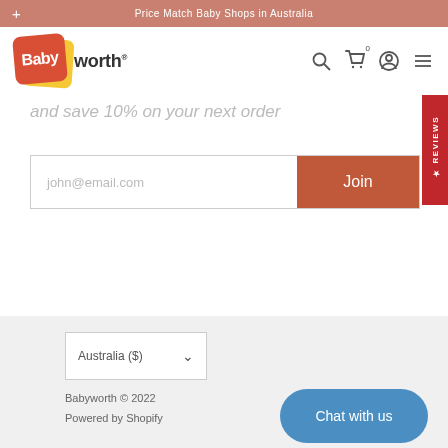Price Match Baby Shops in Australia
[Figure (logo): Babyworth logo — red rounded square with 'Baby' in white, 'worth' in dark text with registered trademark symbol, yellow accent behind]
and save 10% on your next order
john@email.com  Join
Australia ($)
Babyworth © 2022
Powered by Shopify
Chat with us
★ REVIEWS